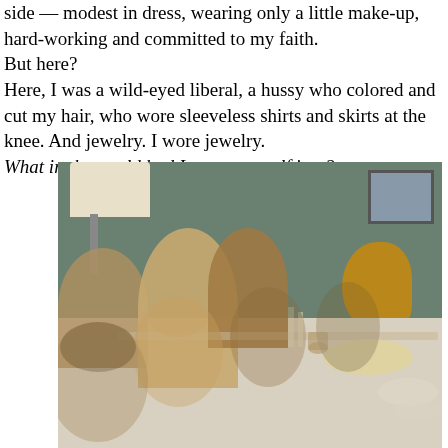side — modest in dress, wearing only a little make-up, hard-working and committed to my faith.
But here?
Here, I was a wild-eyed liberal, a hussy who colored and cut my hair, who wore sleeveless shirts and skirts at the knee. And jewelry. I wore jewelry.
What in the world had I gotten myself into?
[Figure (photo): A vintage photograph of people seated around a dinner table with food, flowers, a lamp, and a framed picture on the wall in the background.]